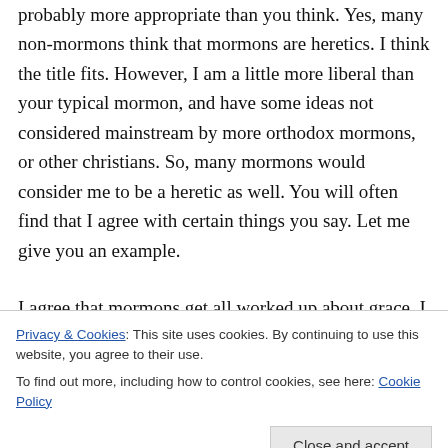probably more appropriate than you think. Yes, many non-mormons think that mormons are heretics. I think the title fits. However, I am a little more liberal than your typical mormon, and have some ideas not considered mainstream by more orthodox mormons, or other christians. So, many mormons would consider me to be a heretic as well. You will often find that I agree with certain things you say. Let me give you an example.
I agree that mormons get all worked up about grace. I believe in grace. Now it seems that
Privacy & Cookies: This site uses cookies. By continuing to use this website, you agree to their use.
To find out more, including how to control cookies, see here: Cookie Policy
believe this.